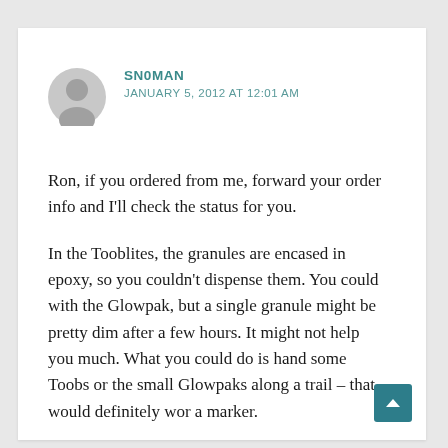SN0MAN
JANUARY 5, 2012 AT 12:01 AM
Ron, if you ordered from me, forward your order info and I'll check the status for you.
In the Tooblites, the granules are encased in epoxy, so you couldn't dispense them. You could with the Glowpak, but a single granule might be pretty dim after a few hours. It might not help you much. What you could do is hand some Toobs or the small Glowpaks along a trail – that would definitely wor a marker.